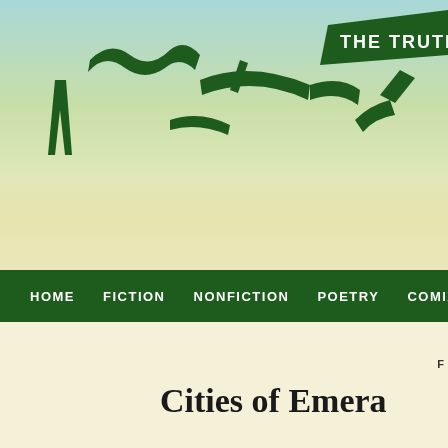[Figure (illustration): Dark green illustrated silhouette figures resembling animals or creatures along the top, with a dark green banner ribbon in the upper right reading 'THE TRUTH' in white text. Background is a light blue-to-cream gradient sky.]
HOME  FICTION  NONFICTION  POETRY  COMIX
Cities of Emera